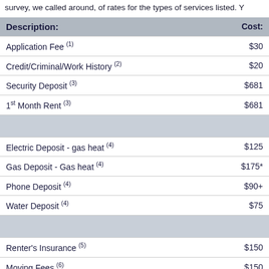survey, we called around, of rates for the types of services listed. Y
| Description: | Cost: |
| --- | --- |
| Application Fee (1) | $30 |
| Credit/Criminal/Work History (2) | $20 |
| Security Deposit (3) | $681 |
| 1st Month Rent (3) | $681 |
| [section divider] |  |
| Electric Deposit - gas heat (4) | $125 |
| Gas Deposit - Gas heat (4) | $175* |
| Phone Deposit (4) | $90+ |
| Water Deposit (4) | $75 |
| [section divider] |  |
| Renter's Insurance (5) | $150 |
| Moving Fees (6) | $150 |
| Transportation Costs (7) | $50 |
| [section divider] |  |